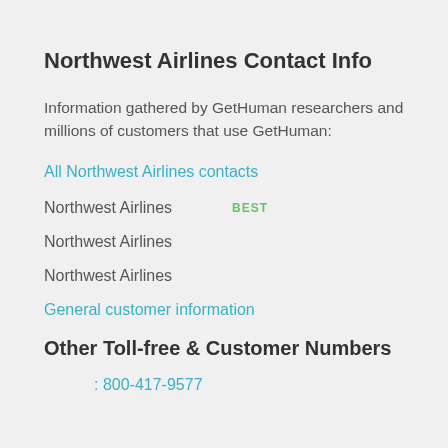Northwest Airlines Contact Info
Information gathered by GetHuman researchers and millions of customers that use GetHuman:
All Northwest Airlines contacts
Northwest Airlines    BEST
Northwest Airlines
Northwest Airlines
General customer information
Other Toll-free & Customer Numbers
: 800-417-9577